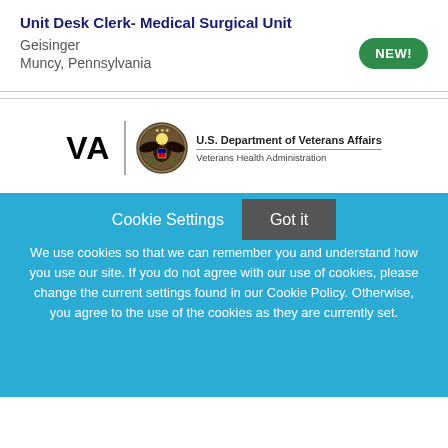Unit Desk Clerk- Medical Surgical Unit
Geisinger
Muncy, Pennsylvania
[Figure (logo): Green oval badge with text NEW!]
[Figure (logo): U.S. Department of Veterans Affairs - Veterans Health Administration logo with VA text, eagle seal, and department name]
Cookie Settings
Got it
We use cookies so that we can remember you and understand how you use our site. If you do not agree with our use of cookies, please change the current settings found in our Cookie Policy. Otherwise, you agree to the use of the cookies as they are currently set.